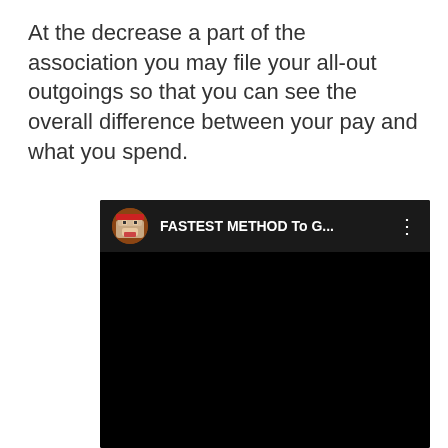At the decrease a part of the association you may file your all-out outgoings so that you can see the overall difference between your pay and what you spend.
[Figure (screenshot): A video thumbnail/player screenshot showing a black video frame with a channel avatar icon (cartoon character with red bandana, open mouth expression) and the title 'FASTEST METHOD To G...' with a three-dot menu icon on the right, on a dark background.]